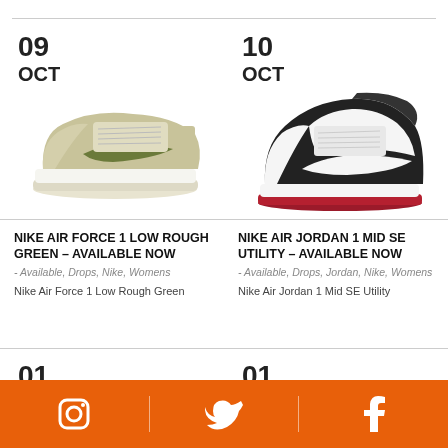[Figure (photo): Nike Air Force 1 Low Rough Green sneaker, olive/cream colorway, low-top style]
09
OCT
[Figure (photo): Nike Air Jordan 1 Mid SE Utility sneaker, black/white/red colorway, high-top style]
10
OCT
NIKE AIR FORCE 1 LOW ROUGH GREEN – AVAILABLE NOW
- Available, Drops, Nike, Womens
Nike Air Force 1 Low Rough Green
NIKE AIR JORDAN 1 MID SE UTILITY – AVAILABLE NOW
- Available, Drops, Jordan, Nike, Womens
Nike Air Jordan 1 Mid SE Utility
01
OCT
01
OCT
Instagram | Twitter | Facebook